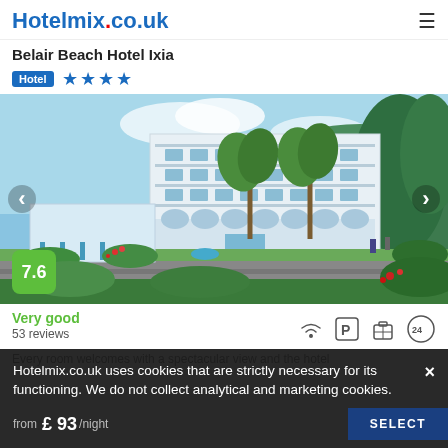Hotelmix.co.uk
Belair Beach Hotel Ixia
Hotel ★★★★
[Figure (photo): Exterior photo of Belair Beach Hotel Ixia showing a white multi-storey hotel building with palm trees, blue sky, and green hills in the background. Navigation arrows on left and right. Score badge showing 7.6 in green.]
Very good
53 reviews
Every room welcomes with a spectacular view and the hotel
Hotelmix.co.uk uses cookies that are strictly necessary for its functioning. We do not collect analytical and marketing cookies.
from £ 93 /night
SELECT